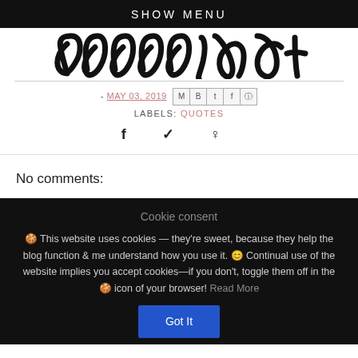SHOW MENU
[Figure (logo): Stylized cursive/handwritten logo text in black on white background]
- MAY 03, 2019 [share icons: M, B, t, f, p]
LABELS: QUOTES
f  ♥  p (social share icons)
No comments:
Cookie consent
🍪 This website uses cookies — they're sweet, because they help the blog function & me understand how you use it. 😊 Continual use of the website implies you accept cookies—if you don't, toggle them off in the 🍪 icon of your browser! Read More
Got It